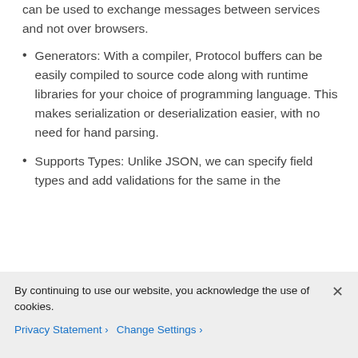can be used to exchange messages between services and not over browsers.
Generators: With a compiler, Protocol buffers can be easily compiled to source code along with runtime libraries for your choice of programming language. This makes serialization or deserialization easier, with no need for hand parsing.
Supports Types: Unlike JSON, we can specify field types and add validations for the same in the
By continuing to use our website, you acknowledge the use of cookies.
Privacy Statement > Change Settings >